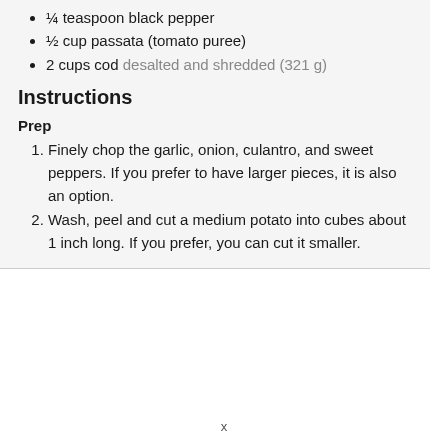¼ teaspoon black pepper
½ cup passata (tomato puree)
2 cups cod desalted and shredded (321 g)
Instructions
Prep
Finely chop the garlic, onion, culantro, and sweet peppers. If you prefer to have larger pieces, it is also an option.
Wash, peel and cut a medium potato into cubes about 1 inch long. If you prefer, you can cut it smaller.
x